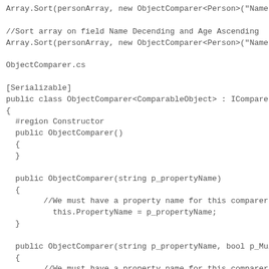Array.Sort(personArray, new ObjectComparer<Person>("Name"

//Sort array on field Name Decending and Age Ascending
Array.Sort(personArray, new ObjectComparer<Person>("Name"

ObjectComparer.cs

[Serializable]
public class ObjectComparer<ComparableObject> : IComparer
{
  #region Constructor
  public ObjectComparer()
  {
  }

  public ObjectComparer(string p_propertyName)
  {
        //We must have a property name for this comparer to
          this.PropertyName = p_propertyName;
  }

  public ObjectComparer(string p_propertyName, bool p_Mul
  {
        //We must have a property name for this comparer to
          this.PropertyName = p_propertyName;
      this.MultiColumn = p_MultiColumn;
  }
}